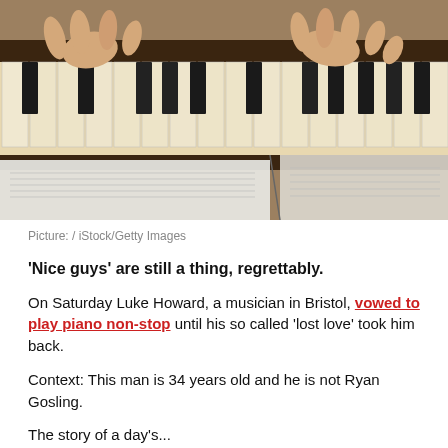[Figure (photo): Overhead view of hands playing piano keys, with open sheet music in the foreground]
Picture: / iStock/Getty Images
'Nice guys' are still a thing, regrettably.
On Saturday Luke Howard, a musician in Bristol, vowed to play piano non-stop until his so called 'lost love' took him back.
Context: This man is 34 years old and he is not Ryan Gosling.
The story of a day's...